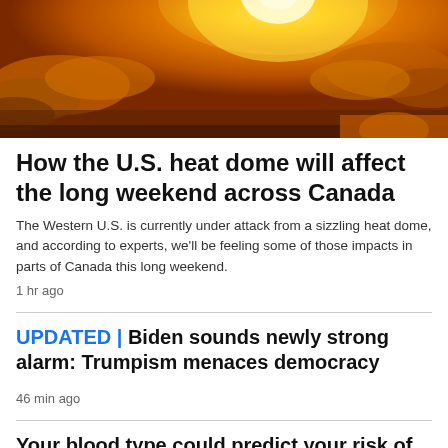[Figure (photo): Hero image showing a bright sun shining through orange-tinted clouds, dramatic warm sky]
How the U.S. heat dome will affect the long weekend across Canada
The Western U.S. is currently under attack from a sizzling heat dome, and according to experts, we'll be feeling some of those impacts in parts of Canada this long weekend.
1 hr ago
UPDATED | Biden sounds newly strong alarm: Trumpism menaces democracy
46 min ago
Your blood type could predict your risk of having a stroke before age 60: study